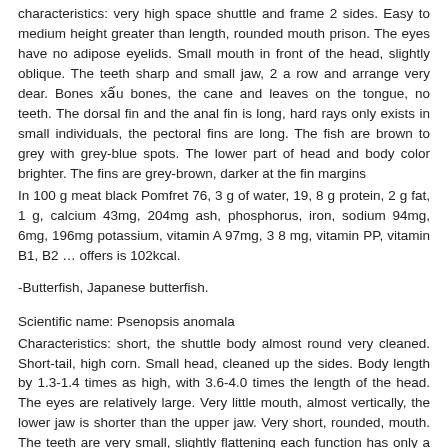characteristics: very high space shuttle and frame 2 sides. Easy to medium height greater than length, rounded mouth prison. The eyes have no adipose eyelids. Small mouth in front of the head, slightly oblique. The teeth sharp and small jaw, 2 a row and arrange very dear. Bones xấu bones, the cane and leaves on the tongue, no teeth. The dorsal fin and the anal fin is long, hard rays only exists in small individuals, the pectoral fins are long. The fish are brown to grey with grey-blue spots. The lower part of head and body color brighter. The fins are grey-brown, darker at the fin margins
In 100 g meat black Pomfret 76, 3 g of water, 19, 8 g protein, 2 g fat, 1 g, calcium 43mg, 204mg ash, phosphorus, iron, sodium 94mg, 6mg, 196mg potassium, vitamin A 97mg, 3 8 mg, vitamin PP, vitamin B1, B2 … offers is 102kcal.
-Butterfish, Japanese butterfish.
Scientific name: Psenopsis anomala
Characteristics: short, the shuttle body almost round very cleaned. Short-tail, high corn. Small head, cleaned up the sides. Body length by 1.3-1.4 times as high, with 3.6-4.0 times the length of the head. The eyes are relatively large. Very little mouth, almost vertically, the lower jaw is shorter than the upper jaw. Very short, rounded, mouth. The teeth are very small, slightly flattening each function has only a small, folded his narrow. Sugar cane leaves, and